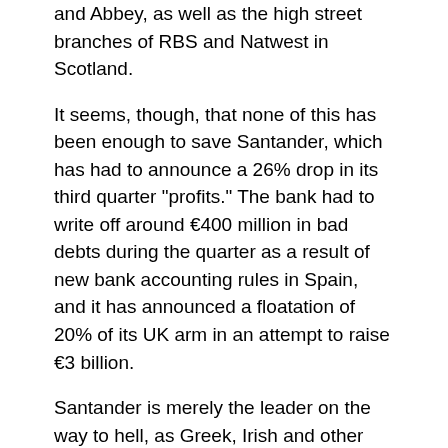and Abbey, as well as the high street branches of RBS and Natwest in Scotland.
It seems, though, that none of this has been enough to save Santander, which has had to announce a 26% drop in its third quarter "profits." The bank had to write off around €400 million in bad debts during the quarter as a result of new bank accounting rules in Spain, and it has announced a floatation of 20% of its UK arm in an attempt to raise €3 billion.
Santander is merely the leader on the way to hell, as Greek, Irish and other Spanish banks follow quickly behind. All are on European Central Bank life support machines - isn't it time these were switched off?
As Bloomberg recently reported, Spanish, Irish and Greek banks took 61% of the loans supplied by the ECB in September, which was 50% up on August. Why? Because no-one wanted to invest in their bonds.
All this resulted in last week's agreement, led by the Cabbage Patch himself, to make changes to the Lisbon